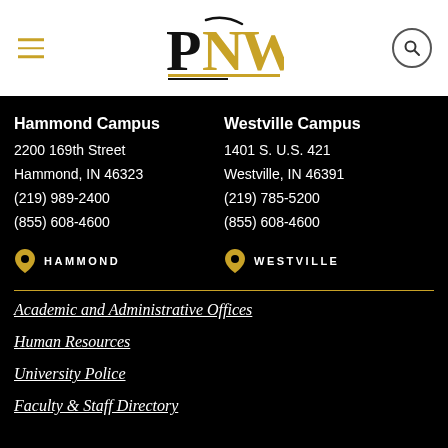PNW
Hammond Campus
2200 169th Street
Hammond, IN 46323
(219) 989-2400
(855) 608-4600
Westville Campus
1401 S. U.S. 421
Westville, IN 46391
(219) 785-5200
(855) 608-4600
HAMMOND
WESTVILLE
Academic and Administrative Offices
Human Resources
University Police
Faculty & Staff Directory